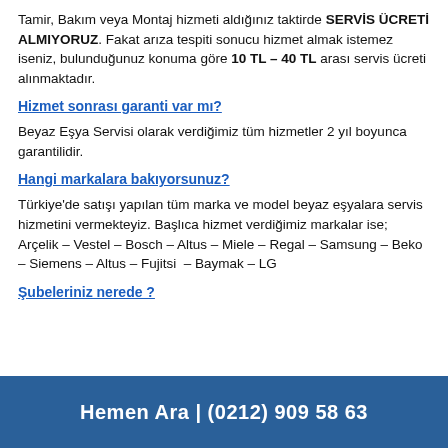Tamir, Bakım veya Montaj hizmeti aldığınız taktirde SERVİS ÜCRETİ ALMIYORUZ. Fakat arıza tespiti sonucu hizmet almak istemez iseniz, bulunduğunuz konuma göre 10 TL – 40 TL arası servis ücreti alınmaktadır.
Hizmet sonrası garanti var mı?
Beyaz Eşya Servisi olarak verdiğimiz tüm hizmetler 2 yıl boyunca garantilidir.
Hangi markalara bakıyorsunuz?
Türkiye'de satışı yapılan tüm marka ve model beyaz eşyalara servis hizmetini vermekteyiz. Başlıca hizmet verdiğimiz markalar ise; Arçelik – Vestel – Bosch – Altus – Miele – Regal – Samsung – Beko – Siemens – Altus – Fujitsi – Baymak – LG
Şubeleriniz nerede ?
Hemen Ara | (0212) 909 58 63